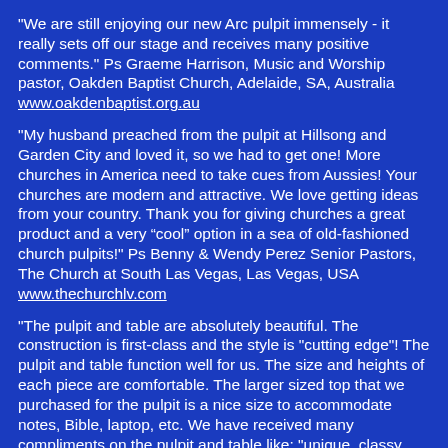"We are still enjoying our new Arc pulpit immensely - it really sets off our stage and receives many positive comments." Ps Graeme Harrison, Music and Worship pastor, Oakden Baptist Church, Adelaide, SA, Australia www.oakdenbaptist.org.au
"My husband preached from the pulpit at Hillsong and Garden City and loved it, so we had to get one! More churches in America need to take cues from Aussies! Your churches are modern and attractive. We love getting ideas from your country. Thank you for giving churches a great product and a very “cool” option in a sea of old-fashioned church pulpits!" Ps Benny & Wendy Perez Senior Pastors, The Church at South Las Vegas, Las Vegas, USA www.thechurchlv.com
"The pulpit and table are absolutely beautiful. The construction is first-class and the style is "cutting edge"! The pulpit and table function well for us. The size and heights of each piece are comfortable. The larger sized top that we purchased for the pulpit is a nice size to accommodate notes, Bible, laptop, etc. We have received many compliments on the pulpit and table like: "unique, classy, clean-look." Everyone appreciates all the beautiful work done by the team! We lov...